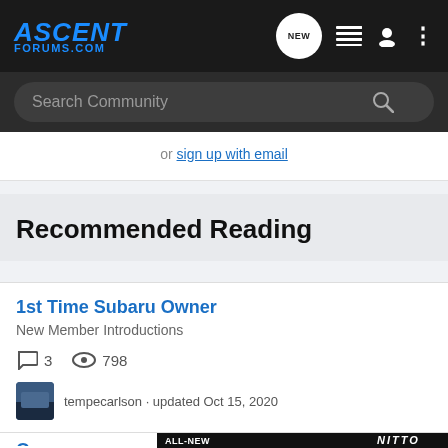ASCENT FORUMS.COM
Search Community
or sign up with email
Recommended Reading
1st Time Subaru Owner
New Member Introductions
3 comments  798 views
tempecarlson · updated Oct 15, 2020
Owner
Exterior
[Figure (screenshot): Nitto ALL-NEW NOMAD GRAPPLER CROSSOVER-TERRAIN TIRE advertisement banner]